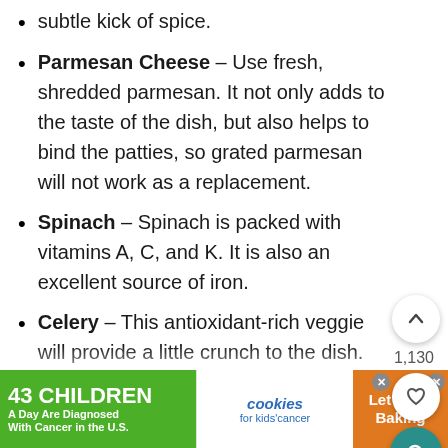subtle kick of spice.
Parmesan Cheese – Use fresh, shredded parmesan. It not only adds to the taste of the dish, but also helps to bind the patties, so grated parmesan will not work as a replacement.
Spinach – Spinach is packed with vitamins A, C, and K. It is also an excellent source of iron.
Celery – This antioxidant-rich veggie will provide a little crunch to the dish.
Coconut Oil – Coconut oil contains healthy fatty acids that help your body to burn fat